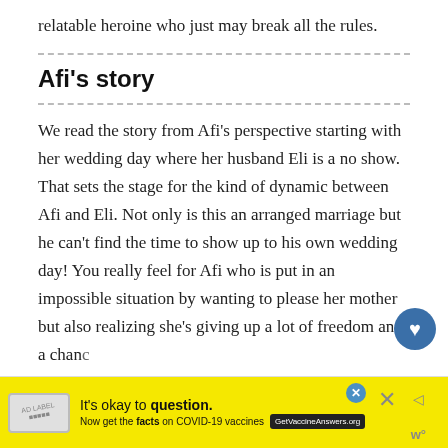relatable heroine who just may break all the rules.
Afi's story
We read the story from Afi's perspective starting with her wedding day where her husband Eli is a no show. That sets the stage for the kind of dynamic between Afi and Eli. Not only is this an arranged marriage but he can't find the time to show up to his own wedding day! You really feel for Afi who is put in an impossible situation by wanting to please her mother but also realizing she's giving up a lot of freedom and a chance fo
[Figure (screenshot): Yellow advertisement banner: 'It's okay to question. Now get the facts on COVID-19 vaccines. GetVaccineAnswers.org' with a close button and X buttons]